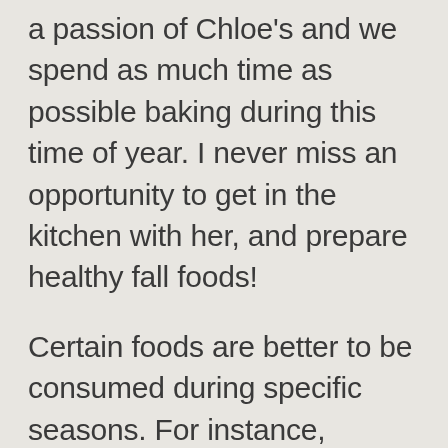a passion of Chloe's and we spend as much time as possible baking during this time of year. I never miss an opportunity to get in the kitchen with her, and prepare healthy fall foods!
Certain foods are better to be consumed during specific seasons. For instance, autumn is a good season to eat foods that contain phytochemicals. Fill yourself up with these juicy fruits and vegetables rich in nutrients and phytochemicals to help keep your immune system healthy and prevent unforeseen illness.